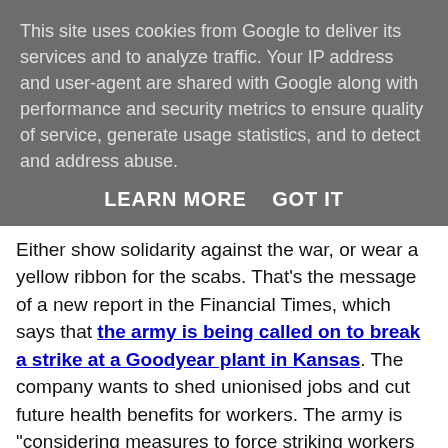This site uses cookies from Google to deliver its services and to analyze traffic. Your IP address and user-agent are shared with Google along with performance and security metrics to ensure quality of service, generate usage statistics, and to detect and address abuse.
LEARN MORE   GOT IT
Either show solidarity against the war, or wear a yellow ribbon for the scabs. That's the message of a new report in the Financial Times, which says that the army is being called on to break a strike at a Goodyear plant in Kansas. The company wants to shed unionised jobs and cut future health benefits for workers. The army is "considering measures to force striking workers back to their jobs" because they are facing a potential shortage of tyres for Humvee trucks.
The Bush administration has been very aggressive in dealing with the labour movement, especially since they threatened to use troops against dockworkers in 2002. The administration has been one of the most labour-bashing governments in living memory, blocking strikes in crucial airlines (Forbes magazine and its ilk are always complaining about the strength of airline unions), turning